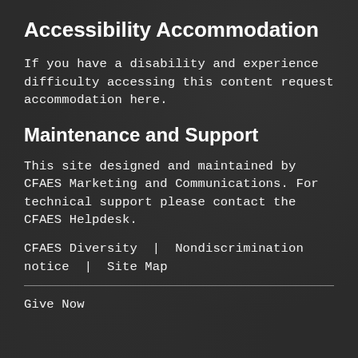Accessibility Accommodation
If you have a disability and experience difficulty accessing this content request accommodation here.
Maintenance and Support
This site designed and maintained by CFAES Marketing and Communications. For technical support please contact the CFAES Helpdesk.
CFAES Diversity | Nondiscrimination notice | Site Map
Give Now